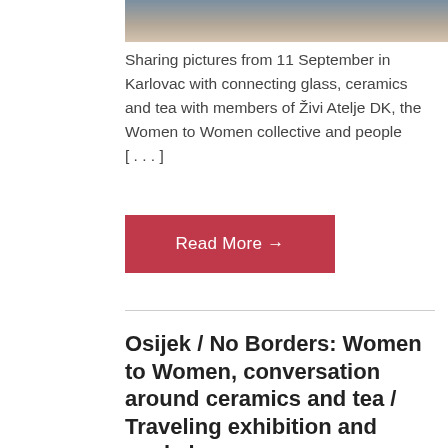[Figure (photo): Partial photo showing table with ceramics and textiles, cropped at top of page]
Sharing pictures from 11 September in Karlovac with connecting glass, ceramics and tea with members of Živi Atelje DK, the Women to Women collective and people [...]
Read More →
Osijek / No Borders: Women to Women, conversation around ceramics and tea / Traveling exhibition and workshop